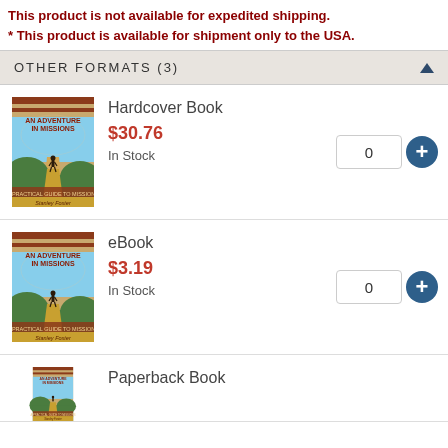This product is not available for expedited shipping.
* This product is available for shipment only to the USA.
OTHER FORMATS (3)
[Figure (illustration): Book cover for 'An Adventure in Missions - A Practical Guide to Missions' by Stanley Foster, showing a person walking on a dirt road through green landscape]
Hardcover Book
$30.76
In Stock
[Figure (illustration): Book cover for 'An Adventure in Missions - A Practical Guide to Missions' by Stanley Foster, showing a person walking on a dirt road through green landscape]
eBook
$3.19
In Stock
[Figure (illustration): Book cover partial view for 'An Adventure in Missions' by Stanley Foster]
Paperback Book